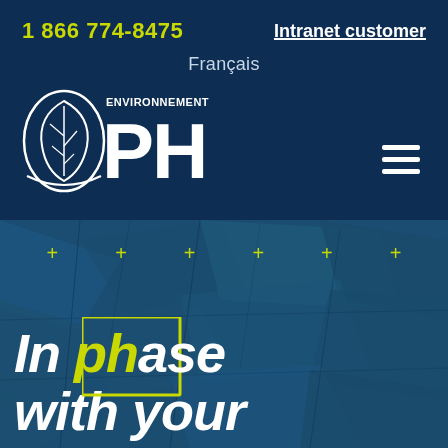1 866 774-8475   Intranet customer
Français
[Figure (logo): Environnement PH logo: white leaf/tree icon with text ENVIRONNEMENT above bold PH letters]
In phase with your